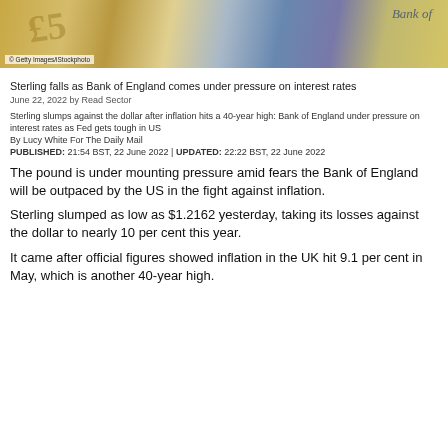[Figure (photo): Photograph of British pound sterling currency including coins and banknotes, with Getty Images/iStockphoto watermark]
Sterling falls as Bank of England comes under pressure on interest rates
June 22, 2022 by Read Sector
Sterling slumps against the dollar after inflation hits a 40-year high: Bank of England under pressure on interest rates as Fed gets tough in US
By Lucy White For The Daily Mail
PUBLISHED: 21:54 BST, 22 June 2022 | UPDATED: 22:22 BST, 22 June 2022
The pound is under mounting pressure amid fears the Bank of England will be outpaced by the US in the fight against inflation.
Sterling slumped as low as $1.2162 yesterday, taking its losses against the dollar to nearly 10 per cent this year.
It came after official figures showed inflation in the UK hit 9.1 per cent in May, which is another 40-year high.